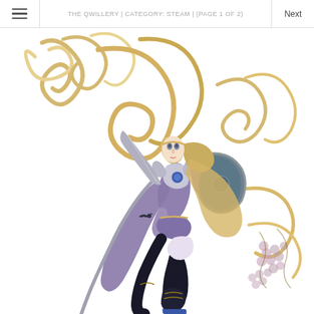THE QWILLERY | CATEGORY: STEAM | (PAGE 1 OF 2)
[Figure (illustration): Anime-style female warrior character with blonde hair, wearing purple and silver armor, holding a large spear and shield, with decorative golden baroque scrollwork and grape cluster motifs in the background. The character is posed dynamically in a running or leaping stance, wearing black thigh-high boots.]